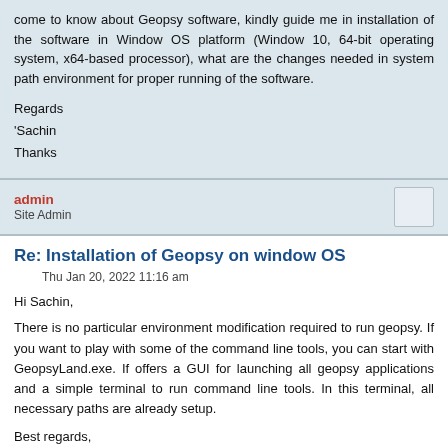come to know about Geopsy software, kindly guide me in installation of the software in Window OS platform (Window 10, 64-bit operating system, x64-based processor), what are the changes needed in system path environment for proper running of the software.
Regards
'Sachin
Thanks
admin
Site Admin
Re: Installation of Geopsy on window OS
Thu Jan 20, 2022 11:16 am
Hi Sachin,
There is no particular environment modification required to run geopsy. If you want to play with some of the command line tools, you can start with GeopsyLand.exe. If offers a GUI for launching all geopsy applications and a simple terminal to run command line tools. In this terminal, all necessary paths are already setup.
Best regards,